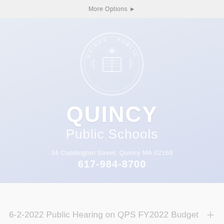More Options
[Figure (logo): Quincy Public Schools circular seal/logo in white on light blue background, showing a book and laurel wreath with text 'QUINCY PUBLIC SCHOOLS' around the border]
QUINCY Public Schools
34 Coddington Street, Quincy MA 02169
617-984-8700
6-2-2022 Public Hearing on QPS FY2022 Budget